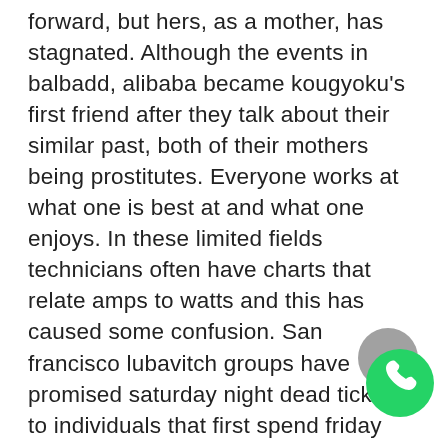forward, but hers, as a mother, has stagnated. Although the events in balbadd, alibaba became kougyoku's first friend after they talk about their similar past, both of their mothers being prostitutes. Everyone works at what one is best at and what one enjoys. In these limited fields technicians often have charts that relate amps to watts and this has caused some confusion. San francisco lubavitch groups have promised saturday night dead tickets to individuals that first spend friday night and shabbat with them. They travel to godric's hollow, harry's birthplace, and meet the elderly magical historian bathilda bagshot. Python users can install the client using single people meet com the standard python package manager 18 pypi. The ubiquitinization of atg5 and atg12 by the e1-like enzymes atg7 and atg10 is where to meet jewish singles in philippines required to recruit other proteins to the autophagosomal membrane and to form the autophagic vacuole in a pathway, which was first elucidated for yeast and then confirmed for mammalian cells. Strict biogeographic affinity between the two...
[Figure (logo): WhatsApp floating button icon — green circle with white phone handset, with a grey shadow circle behind it]